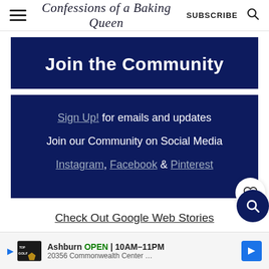Confessions of a Baking Queen | SUBSCRIBE
Join the Community
Sign Up! for emails and updates
Join our Community on Social Media
Instagram, Facebook & Pinterest
Check Out Google Web Stories
[Figure (screenshot): TopGolf ad banner: Ashburn OPEN 10AM–11PM, 20356 Commonwealth Center...]